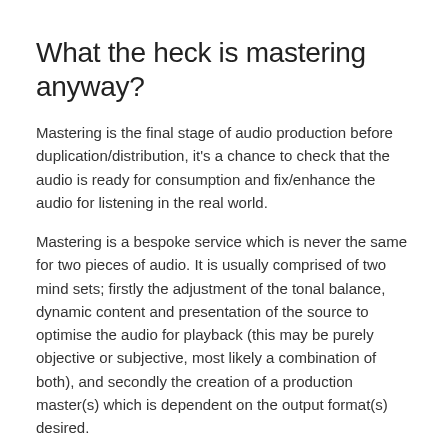What the heck is mastering anyway?
Mastering is the final stage of audio production before duplication/distribution, it's a chance to check that the audio is ready for consumption and fix/enhance the audio for listening in the real world.
Mastering is a bespoke service which is never the same for two pieces of audio. It is usually comprised of two mind sets; firstly the adjustment of the tonal balance, dynamic content and presentation of the source to optimise the audio for playback (this may be purely objective or subjective, most likely a combination of both), and secondly the creation of a production master(s) which is dependent on the output format(s) desired.